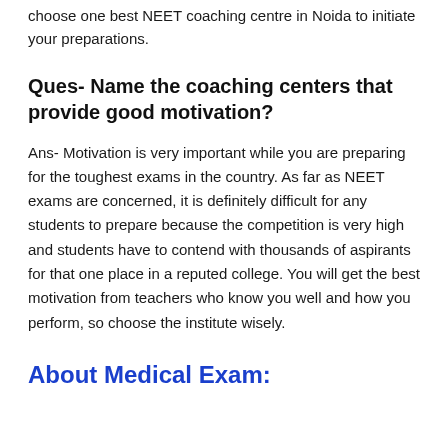choose one best NEET coaching centre in Noida to initiate your preparations.
Ques- Name the coaching centers that provide good motivation?
Ans- Motivation is very important while you are preparing for the toughest exams in the country. As far as NEET exams are concerned, it is definitely difficult for any students to prepare because the competition is very high and students have to contend with thousands of aspirants for that one place in a reputed college. You will get the best motivation from teachers who know you well and how you perform, so choose the institute wisely.
About Medical Exam: